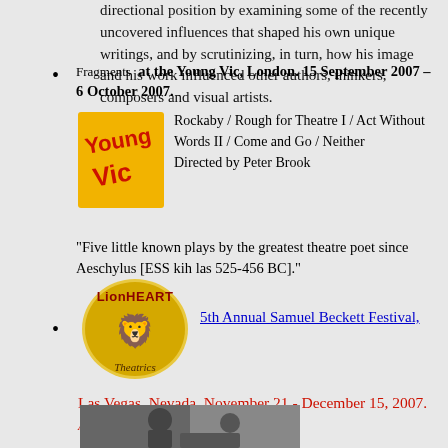directional position by examining some of the recently uncovered influences that shaped his own unique writings, and by scrutinizing, in turn, how his image and his work influenced other authors, thinkers, composers and visual artists.
Fragments at the Young Vic, London. 15 September 2007 – 6 October 2007. Rockaby / Rough for Theatre I / Act Without Words II / Come and Go / Neither. Directed by Peter Brook. "Five little known plays by the greatest theatre poet since Aeschylus [ESS kih las 525-456 BC]."
[Figure (logo): Young Vic theatre logo - yellow/orange square with Young Vic text in red]
5th Annual Samuel Beckett Festival, Las Vegas, Nevada, November 21 - December 15, 2007. Act Without Words I & II and Happy Days
[Figure (logo): LionHeart Theatrics oval logo with lion illustration]
[Figure (photo): Black and white photo of performers]